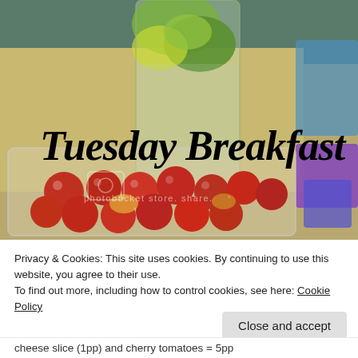[Figure (photo): Photo of a Tuesday Breakfast: a glass jar with cucumber/lemon infused water on a wooden desk, and a plastic container filled with cherry tomatoes and egg/vegetable dish. Text overlay reads 'Tuesday Breakfast' in italic script. A watermark from photobucket is visible.]
Privacy & Cookies: This site uses cookies. By continuing to use this website, you agree to their use.
To find out more, including how to control cookies, see here: Cookie Policy
Close and accept
cheese slice (1pp) and cherry tomatoes = 5pp